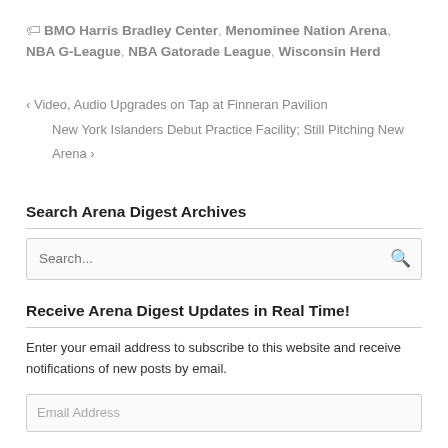🏷 BMO Harris Bradley Center, Menominee Nation Arena, NBA G-League, NBA Gatorade League, Wisconsin Herd
‹ Video, Audio Upgrades on Tap at Finneran Pavilion
New York Islanders Debut Practice Facility; Still Pitching New Arena ›
Search Arena Digest Archives
Search...
Receive Arena Digest Updates in Real Time!
Enter your email address to subscribe to this website and receive notifications of new posts by email.
Email Address